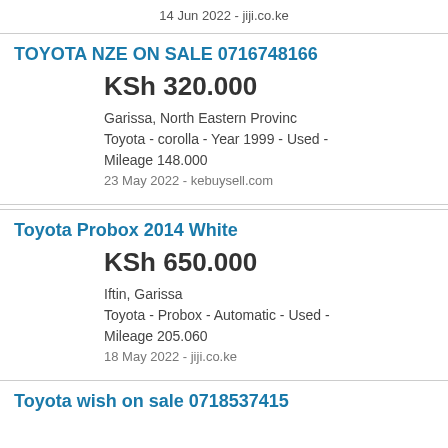14 Jun 2022 - jiji.co.ke
TOYOTA NZE ON SALE 0716748166
KSh 320.000
Garissa, North Eastern Provinc
Toyota - corolla - Year 1999 - Used - Mileage 148.000
23 May 2022 - kebuysell.com
Toyota Probox 2014 White
KSh 650.000
Iftin, Garissa
Toyota - Probox - Automatic - Used - Mileage 205.060
18 May 2022 - jiji.co.ke
Toyota wish on sale 0718537415